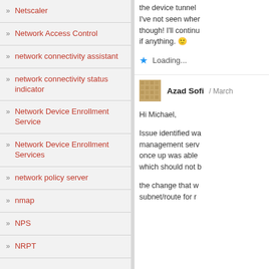» Netscaler
» Network Access Control
» network connectivity assistant
» network connectivity status indicator
» Network Device Enrollment Service
» Network Device Enrollment Services
» network policy server
» nmap
» NPS
» NRPT
the device tunnel I've not seen when though! I'll continu if anything. 🙂
Loading...
Azad Sofi / March
Hi Michael,
Issue identified wa management serv once up was able which should not b
the change that w subnet/route for r